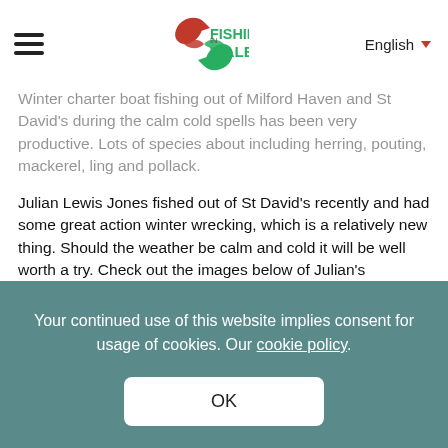Fishing in Wales | English
Winter charter boat fishing out of Milford Haven and St David's during the calm cold spells has been very productive. Lots of species about including herring, pouting, mackerel, ling and pollack.
Julian Lewis Jones fished out of St David's recently and had some great action winter wrecking, which is a relatively new thing. Should the weather be calm and cold it will be well worth a try. Check out the images below of Julian's successful day with skipper Padrig Rees of Blue shark charters.
Your continued use of this website implies consent for usage of cookies. Our cookie policy.